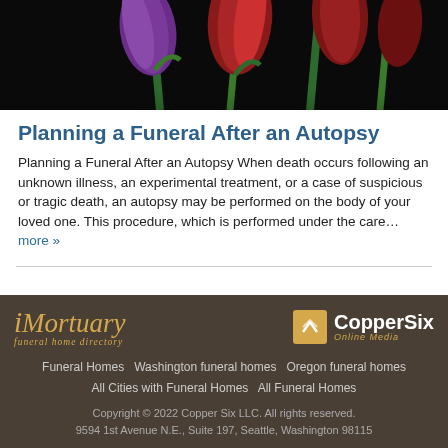[Figure (photo): Close-up photo of colorful tulips (purple, red/pink) against a black background, cropped at top]
Planning a Funeral After an Autopsy
Planning a Funeral After an Autopsy When death occurs following an unknown illness, an experimental treatment, or a case of suspicious or tragic death, an autopsy may be performed on the body of your loved one. This procedure, which is performed under the care… more »
iMortuary funeral home directory | CopperSix Online Media | Funeral Homes | Washington funeral homes | Oregon funeral homes | All Cities with Funeral Homes | All Funeral Homes | Copyright © 2022 Copper Six LLC. All rights reserved. 9594 1st Avenue N.E., Suite 197, Seattle, Washington 98115